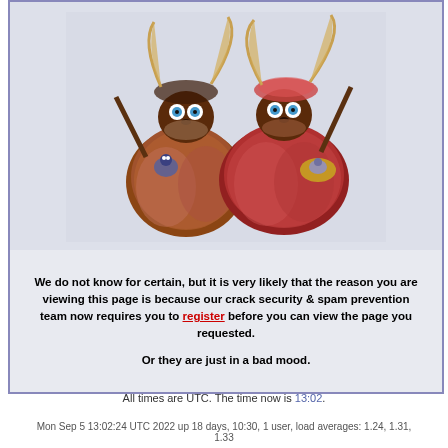[Figure (photo): Two fuzzy creature figurines made from natural materials (seeds, fibers, leaves) with blue eyes, reddish fur-like bodies, holding smaller creatures, on a light background]
We do not know for certain, but it is very likely that the reason you are viewing this page is because our crack security & spam prevention team now requires you to register before you can view the page you requested.

Or they are just in a bad mood.
All times are UTC. The time now is 13:02.
Mon Sep 5 13:02:24 UTC 2022 up 18 days, 10:30, 1 user, load averages: 1.24, 1.31, 1.33